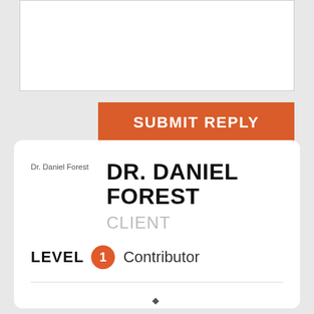[Figure (screenshot): A white text input box (reply form area), empty]
SUBMIT REPLY
[Figure (photo): Broken image placeholder showing alt text 'Dr. Daniel Forest']
DR. DANIEL FOREST
CLIENT
LEVEL 1 Contributor